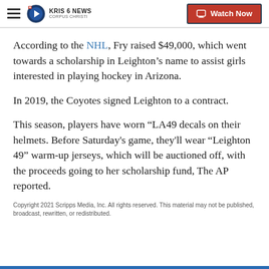KRIS 6 NEWS CORPUS CHRISTI | Watch Now
According to the NHL, Fry raised $49,000, which went towards a scholarship in Leighton’s name to assist girls interested in playing hockey in Arizona.
In 2019, the Coyotes signed Leighton to a contract.
This season, players have worn "LA49 decals on their helmets. Before Saturday's game, they'll wear "Leighton 49" warm-up jerseys, which will be auctioned off, with the proceeds going to her scholarship fund, The AP reported.
Copyright 2021 Scripps Media, Inc. All rights reserved. This material may not be published, broadcast, rewritten, or redistributed.